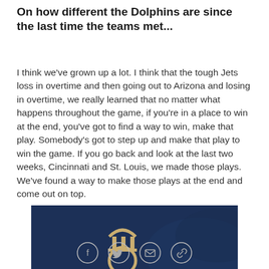On how different the Dolphins are since the last time the teams met...
I think we've grown up a lot. I think that the tough Jets loss in overtime and then going out to Arizona and losing in overtime, we really learned that no matter what happens throughout the game, if you're in a place to win at the end, you've got to find a way to win, make that play. Somebody's got to step up and make that play to win the game. If you go back and look at the last two weeks, Cincinnati and St. Louis, we made those plays. We've found a way to make those plays at the end and come out on top.
[Figure (logo): Dark navy blue background with a gold/beige circular emblem featuring a building with columns at the top and a ring below, partially visible — appears to be a sports team or organization logo]
[Figure (infographic): Social sharing icons row: Facebook (f), Twitter (bird), Email (envelope), and Link (chain link) — each inside a light grey circle outline]